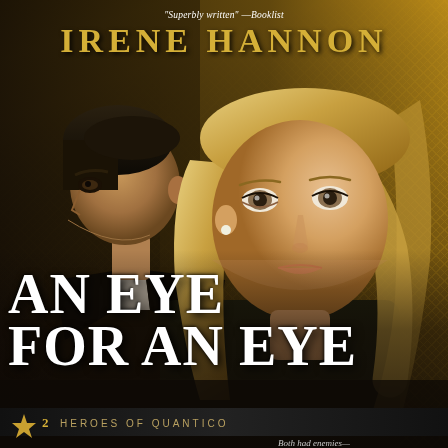[Figure (illustration): Book cover for 'An Eye for an Eye' by Irene Hannon. Features a man in dark clothing on the left in profile facing left, and a blonde woman on the right facing the viewer slightly. Background is a golden/dark textured gradient. At top: blurb quote 'Superbly written' — Booklist and author name IRENE HANNON in gold. Large white bold title AN EYE FOR AN EYE across the bottom half. Series strip at bottom reads '2 HEROES OF QUANTICO' with a gold star. Tagline at bottom right: 'Both had enemies—']
"Superbly written" —Booklist
IRENE HANNON
AN EYE FOR AN EYE
2  HEROES OF QUANTICO
Both had enemies—